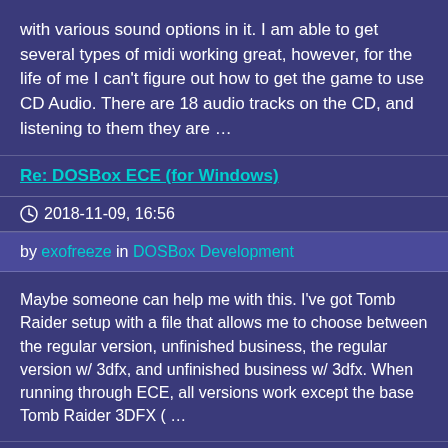with various sound options in it. I am able to get several types of midi working great, however, for the life of me I can't figure out how to get the game to use CD Audio. There are 18 audio tracks on the CD, and listening to them they are …
Re: DOSBox ECE (for Windows)
2018-11-09, 16:56
by exofreeze in DOSBox Development
Maybe someone can help me with this. I've got Tomb Raider setup with a file that allows me to choose between the regular version, unfinished business, the regular version w/ 3dfx, and unfinished business w/ 3dfx. When running through ECE, all versions work except the base Tomb Raider 3DFX ( …
Re: Fit Up...